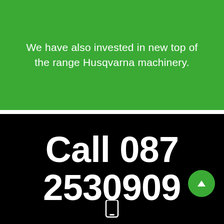We have also invested in new top of the range Husqvarna machinery.
Call 087 2530909